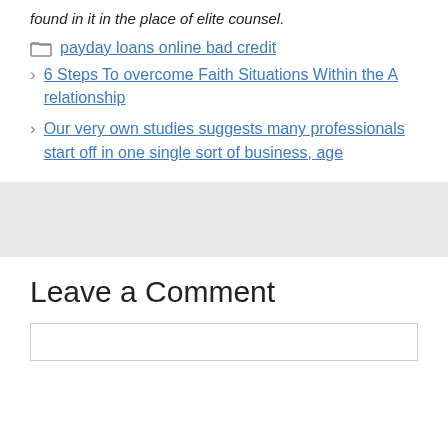found in it in the place of elite counsel.
payday loans online bad credit
6 Steps To overcome Faith Situations Within the A relationship
Our very own studies suggests many professionals start off in one single sort of business, age
Leave a Comment